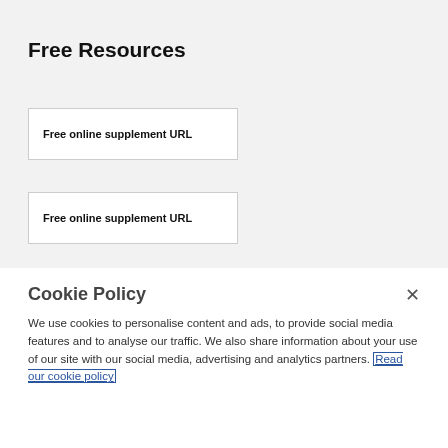Free Resources
Free online supplement URL
Free online supplement URL
Cookie Policy
We use cookies to personalise content and ads, to provide social media features and to analyse our traffic. We also share information about your use of our site with our social media, advertising and analytics partners. Read our cookie policy